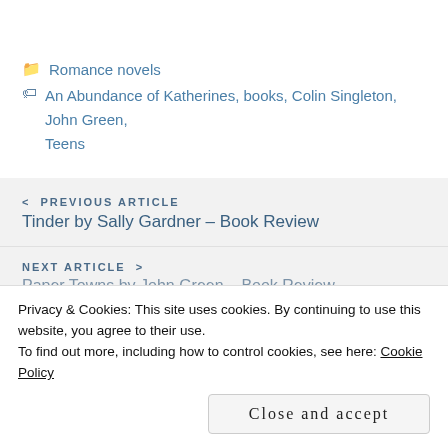Romance novels
An Abundance of Katherines, books, Colin Singleton, John Green, Teens
< PREVIOUS ARTICLE
Tinder by Sally Gardner – Book Review
NEXT ARTICLE >
Paper Towns by John Green – Book Review
Privacy & Cookies: This site uses cookies. By continuing to use this website, you agree to their use.
To find out more, including how to control cookies, see here: Cookie Policy
Close and accept